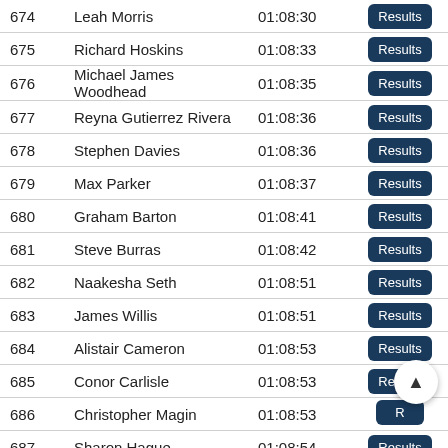| # | Name | Time |  |
| --- | --- | --- | --- |
| 674 | Leah Morris | 01:08:30 | Results |
| 675 | Richard Hoskins | 01:08:33 | Results |
| 676 | Michael James Woodhead | 01:08:35 | Results |
| 677 | Reyna Gutierrez Rivera | 01:08:36 | Results |
| 678 | Stephen Davies | 01:08:36 | Results |
| 679 | Max Parker | 01:08:37 | Results |
| 680 | Graham Barton | 01:08:41 | Results |
| 681 | Steve Burras | 01:08:42 | Results |
| 682 | Naakesha Seth | 01:08:51 | Results |
| 683 | James Willis | 01:08:51 | Results |
| 684 | Alistair Cameron | 01:08:53 | Results |
| 685 | Conor Carlisle | 01:08:53 | Results |
| 686 | Christopher Magin | 01:08:53 | R… |
| 687 | Sharon Hague | 01:08:54 | Results |